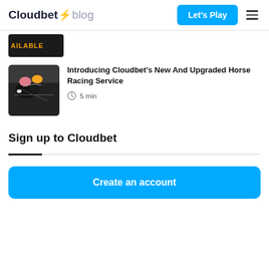Cloudbet ⚡ blog
[Figure (photo): Partial thumbnail image showing text 'AILABLE' in orange on dark background — truncated article card]
[Figure (photo): Thumbnail photo of horse racing — jockeys on horses, close-up view]
Introducing Cloudbet's New And Upgraded Horse Racing Service
5 min
Sign up to Cloudbet
Create an account